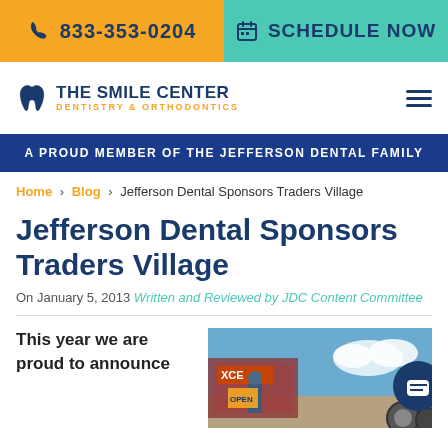833-353-0204 | SCHEDULE NOW
[Figure (logo): The Smile Center Dentistry & Orthodontics logo with tooth icon]
A PROUD MEMBER OF THE JEFFERSON DENTAL FAMILY
Home > Blog > Jefferson Dental Sponsors Traders Village
Jefferson Dental Sponsors Traders Village
On January 5, 2013 Written and Reviewed by JDC Content Committee
[Figure (photo): Outdoor market scene at Traders Village]
This year we are proud to announce